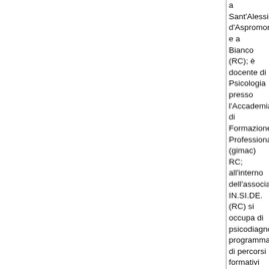a Sant'Alessio d'Aspromonte e a Bianco (RC); è docente di Psicologia presso l'Accademia di Formazione Professionale (gimac) RC; all'interno dell'associazione IN.SI.DE. (RC) si occupa di psicodiagnostica, programmazione di percorsi formativi ed è tutor dei progetti di tirocinio in convenzione con le università. Effettua valutazioni